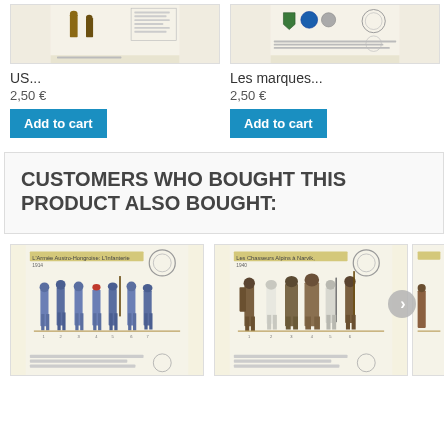[Figure (illustration): Product image showing military uniform illustration - US... item]
US...
2,50 €
Add to cart
[Figure (illustration): Product image showing military badges/marks illustration - Les marques... item]
Les marques...
2,50 €
Add to cart
CUSTOMERS WHO BOUGHT THIS PRODUCT ALSO BOUGHT:
[Figure (illustration): Military uniform illustration showing French infantry soldiers 1914 in blue uniforms]
[Figure (illustration): Military uniform illustration showing Chasseurs Alpins soldiers in winter uniforms]
[Figure (illustration): Partially visible third product military uniform illustration]